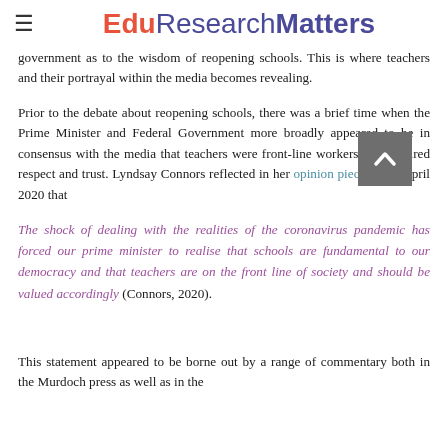EduResearchMatters
government as to the wisdom of reopening schools. This is where teachers and their portrayal within the media becomes revealing.
Prior to the debate about reopening schools, there was a brief time when the Prime Minister and Federal Government more broadly appeared to be in consensus with the media that teachers were front-line workers and required respect and trust. Lyndsay Connors reflected in her opinion piece on 15 April 2020 that
The shock of dealing with the realities of the coronavirus pandemic has forced our prime minister to realise that schools are fundamental to our democracy and that teachers are on the front line of society and should be valued accordingly (Connors, 2020).
This statement appeared to be borne out by a range of commentary both in the Murdoch press as well as in the